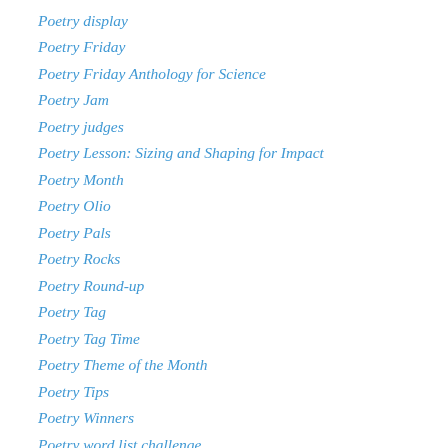Poetry display
Poetry Friday
Poetry Friday Anthology for Science
Poetry Jam
Poetry judges
Poetry Lesson: Sizing and Shaping for Impact
Poetry Month
Poetry Olio
Poetry Pals
Poetry Rocks
Poetry Round-up
Poetry Tag
Poetry Tag Time
Poetry Theme of the Month
Poetry Tips
Poetry Winners
Poetry word list challenge
Poetry Workshop
PoetryTagTime
Poll